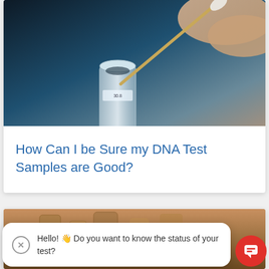[Figure (photo): Close-up photo of a DNA swab (cotton swab) being inserted into a clear collection tube, held by a hand, against a dark blue background]
How Can I be Sure my DNA Test Samples are Good?
[Figure (photo): Partial view of glass bottles or vials in the background, partially obscured by a chat overlay]
Hello! 👋 Do you want to know the status of your test?